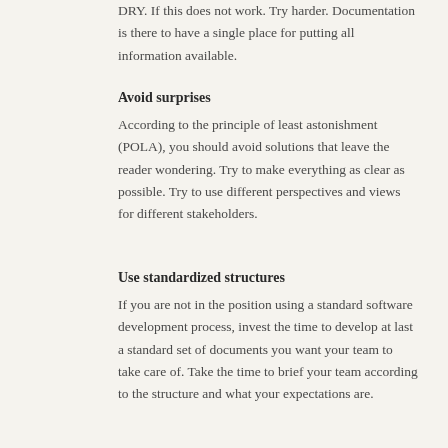DRY. If this does not work. Try harder. Documentation is there to have a single place for putting all information available.
Avoid surprises
According to the principle of least astonishment (POLA), you should avoid solutions that leave the reader wondering. Try to make everything as clear as possible. Try to use different perspectives and views for different stakeholders.
Use standardized structures
If you are not in the position using a standard software development process, invest the time to develop at last a standard set of documents you want your team to take care of. Take the time to brief your team according to the structure and what your expectations are.